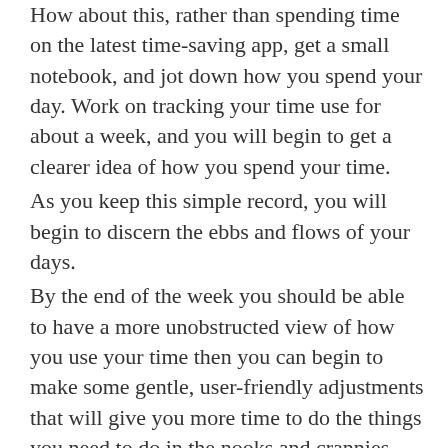How about this, rather than spending time on the latest time-saving app, get a small notebook, and jot down how you spend your day. Work on tracking your time use for about a week, and you will begin to get a clearer idea of how you spend your time.
As you keep this simple record, you will begin to discern the ebbs and flows of your days.
By the end of the week you should be able to have a more unobstructed view of how you use your time then you can begin to make some gentle, user-friendly adjustments that will give you more time to do the things you need to do in the nooks and crannies.
Step # 3 Get Your Mental Health Stuff